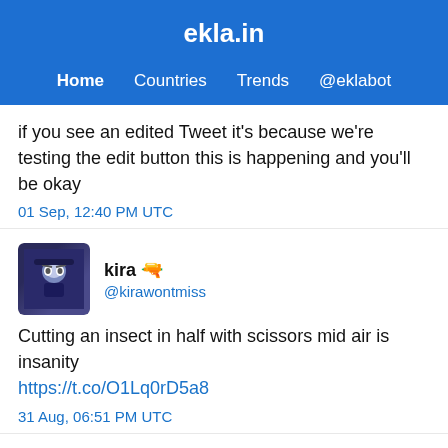ekla.in
Home  Countries  Trends  @eklabot
if you see an edited Tweet it's because we're testing the edit button this is happening and you'll be okay
01 Sep, 12:40 PM UTC
kira 🔫 @kirawontmiss
Cutting an insect in half with scissors mid air is insanity https://t.co/O1Lq0rD5a8
31 Aug, 06:51 PM UTC
Tansu YEĞEN @TansuYegen
You are on a diet and you have supportive friends